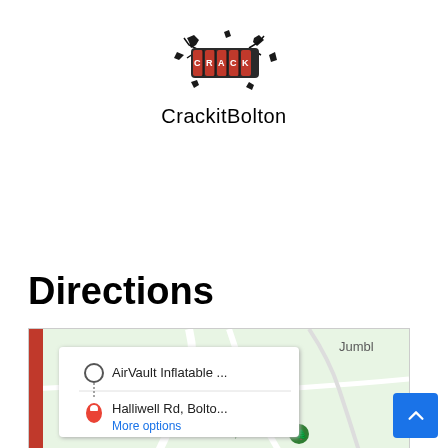[Figure (logo): CrackitBolton logo — combination lock graphic with cracked wall effect, red and black text on white]
CrackitBolton
Directions
[Figure (screenshot): Google Maps screenshot showing directions from AirVault Inflatable ... to Halliwell Rd, Bolto... with More options link. Map shows green area with Jumble label top right and Moss Bank Park, Bolton label at bottom center with tree icon.]